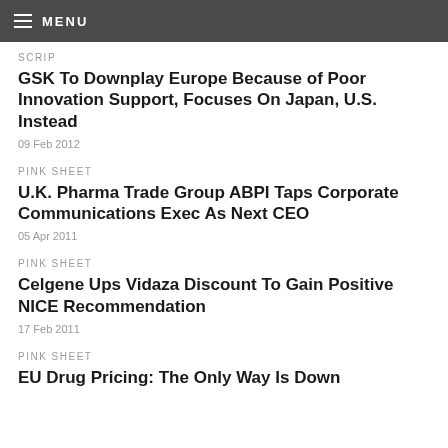MENU
SCRIP
GSK To Downplay Europe Because of Poor Innovation Support, Focuses On Japan, U.S. Instead
09 Feb 2012
PINK SHEET
U.K. Pharma Trade Group ABPI Taps Corporate Communications Exec As Next CEO
05 Apr 2011
PINK SHEET
Celgene Ups Vidaza Discount To Gain Positive NICE Recommendation
17 Feb 2011
PINK SHEET
EU Drug Pricing: The Only Way Is Down